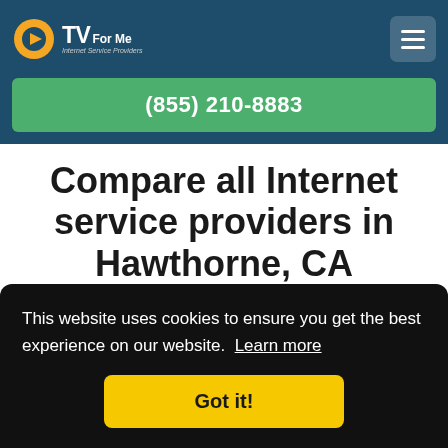[Figure (logo): CTVForMe Internet Service Providers logo with orange C and play button icon]
(855) 210-8883
Compare all Internet service providers in Hawthorne, CA
This website uses cookies to ensure you get the best experience on our website. Learn more
Got it!